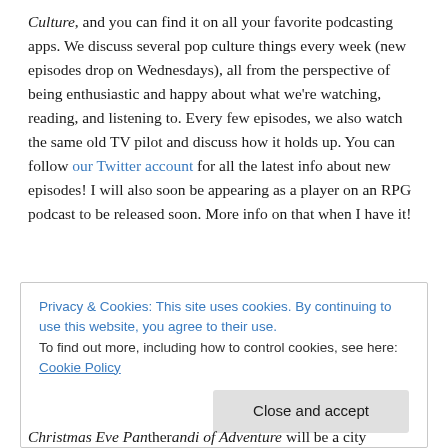Culture, and you can find it on all your favorite podcasting apps. We discuss several pop culture things every week (new episodes drop on Wednesdays), all from the perspective of being enthusiastic and happy about what we're watching, reading, and listening to. Every few episodes, we also watch the same old TV pilot and discuss how it holds up. You can follow our Twitter account for all the latest info about new episodes! I will also soon be appearing as a player on an RPG podcast to be released soon. More info on that when I have it!
Privacy & Cookies: This site uses cookies. By continuing to use this website, you agree to their use. To find out more, including how to control cookies, see here: Cookie Policy
Close and accept
Christmas Eve Pantherandi of Adventure will be a city...